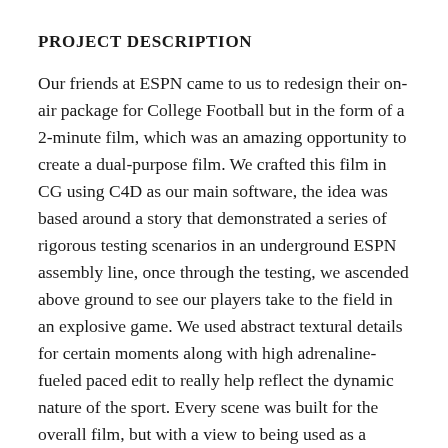PROJECT DESCRIPTION
Our friends at ESPN came to us to redesign their on-air package for College Football but in the form of a 2-minute film, which was an amazing opportunity to create a dual-purpose film. We crafted this film in CG using C4D as our main software, the idea was based around a story that demonstrated a series of rigorous testing scenarios in an underground ESPN assembly line, once through the testing, we ascended above ground to see our players take to the field in an explosive game. We used abstract textural details for certain moments along with high adrenaline-fueled paced edit to really help reflect the dynamic nature of the sport. Every scene was built for the overall film, but with a view to being used as a separate broadcast tool kit, so the scenes live on air as short transitions